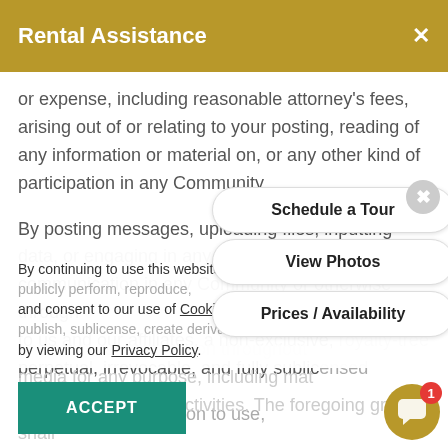Rental Assistance ×
or expense, including reasonable attorney's fees, arising out of or relating to your posting, reading of any information or material on, or any other kind of participation in any Community.
By posting messages, uploading files, inputting data, or engaging in any other form of communication in any Community or otherwise through our to us and our affiliates, a non-exclusive, royalty-free perpetual, irrevocable, and fully sublic
license, and permission to use,
By continuing to use this website you transmit, publicly display, publicly perform, reproduce, and consent to our use of Cookies. Learn more about our use of publish, sublicense, create derivative works from, transfer, cookies by viewing our Privacy Policy.
any such communication throughout, media for any purpose, including mat and other business activities. The foregoing grants shall
[Figure (screenshot): Popup overlay with three buttons: 'Schedule a Tour', 'View Photos', 'Prices / Availability', and an X close circle button.]
[Figure (screenshot): Chat bubble icon in gold/brown with red notification badge showing '1'.]